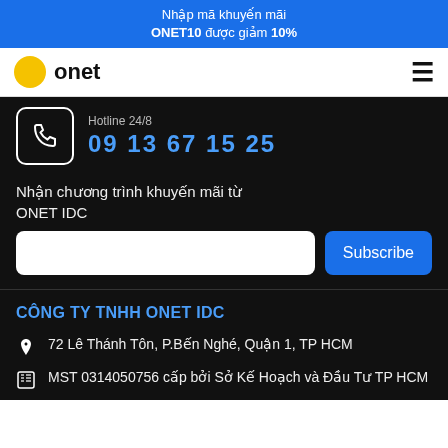Nhập mã khuyến mãi ONET10 được giảm 10%
[Figure (logo): Onet logo with yellow circle and text 'onet', hamburger menu icon on right]
Hotline 24/8
09 13 67 15 25
Nhận chương trình khuyến mãi từ ONET IDC
Subscribe
CÔNG TY TNHH ONET IDC
72 Lê Thánh Tôn, P.Bến Nghé, Quận 1, TP HCM
MST 0314050756 cấp bởi Sở Kế Hoạch và Đầu Tư TP HCM